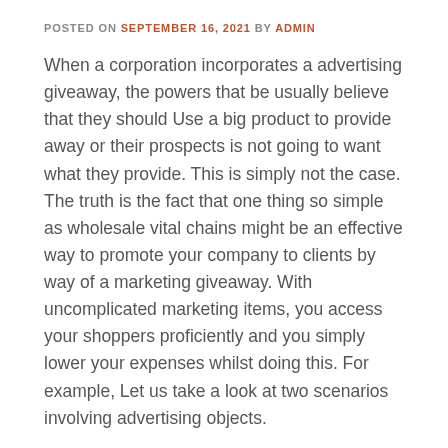POSTED ON SEPTEMBER 16, 2021 BY ADMIN
When a corporation incorporates a advertising giveaway, the powers that be usually believe that they should Use a big product to provide away or their prospects is not going to want what they provide. This is simply not the case. The truth is the fact that one thing so simple as wholesale vital chains might be an effective way to promote your company to clients by way of a marketing giveaway. With uncomplicated marketing items, you access your shoppers proficiently and you simply lower your expenses whilst doing this. For example, Let us take a look at two scenarios involving advertising objects.
When you give absent a tv with your business logo on it, you expend $500 for that merchandise and 1 buyer gets it. That 1 client can showcase The tv plus they will most likely be within the paper. This implies your organization reaches about two hundred to 300 folks